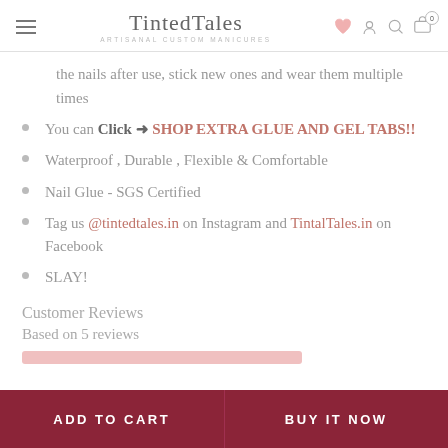TintedTales — ARTISANAL CUSTOM MANICURES
the nails after use, stick new ones and wear them multiple times
You can Click → SHOP EXTRA GLUE AND GEL TABS!!
Waterproof , Durable , Flexible & Comfortable
Nail Glue - SGS Certified
Tag us @tintedtales.in on Instagram and TintalTales.in on Facebook
SLAY!
Customer Reviews
Based on 5 reviews